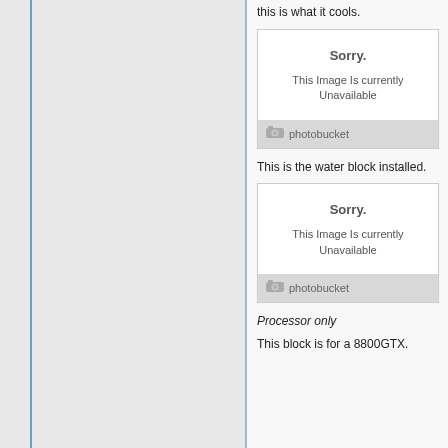this is what it cools.
[Figure (photo): Placeholder image showing 'Sorry. This Image Is currently Unavailable' with Photobucket branding]
This is the water block installed.
[Figure (photo): Placeholder image showing 'Sorry. This Image Is currently Unavailable' with Photobucket branding]
Processor only
This block is for a 8800GTX.